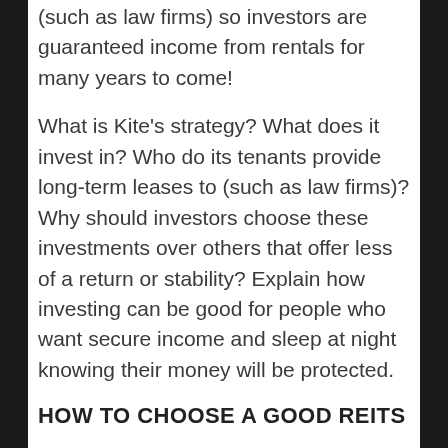(such as law firms) so investors are guaranteed income from rentals for many years to come!
What is Kite's strategy? What does it invest in? Who do its tenants provide long-term leases to (such as law firms)? Why should investors choose these investments over others that offer less of a return or stability? Explain how investing can be good for people who want secure income and sleep at night knowing their money will be protected.
HOW TO CHOOSE A GOOD REITS